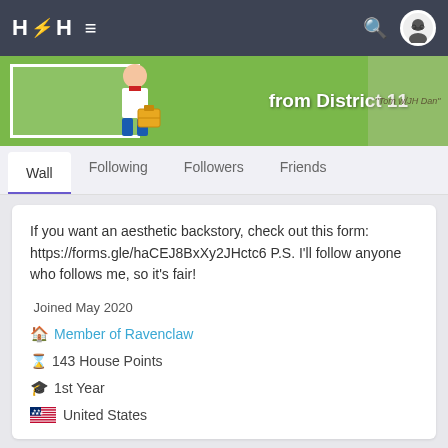H⚡H ≡ [search] [avatar]
[Figure (illustration): Banner image with cartoon figure holding a suitcase, green background, text overlay reading 'from District 11']
Wall | Following | Followers | Friends
If you want an aesthetic backstory, check out this form: https://forms.gle/haCEJ8BxXy2JHctc6 P.S. I'll follow anyone who follows me, so it's fair!
Joined May 2020
🏠 Member of Ravenclaw
⌛ 143 House Points
🎓 1st Year
🇺🇸 United States